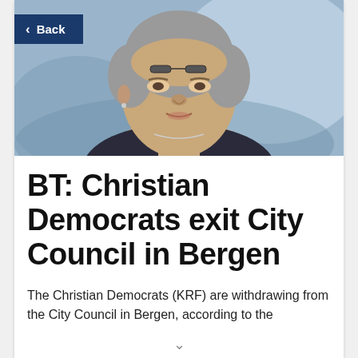[Figure (photo): Close-up photo of a woman with short grey hair and glasses on top of her head, wearing a dark top, slight blurred blue background.]
BT: Christian Democrats exit City Council in Bergen
The Christian Democrats (KRF) are withdrawing from the City Council in Bergen, according to the